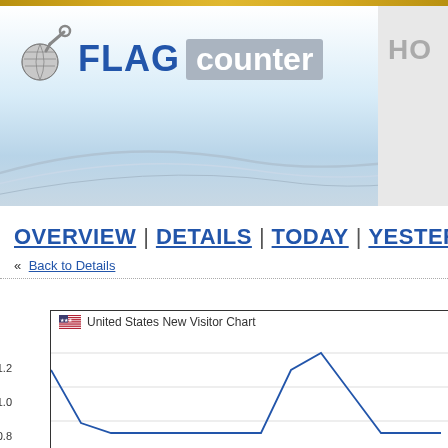[Figure (logo): Flag Counter logo with globe/wrench icon, 'FLAG' in dark blue bold text and 'counter' on gray background]
HO
OVERVIEW | DETAILS | TODAY | YESTERDAY |
« Back to Details
[Figure (line-chart): Line chart titled 'United States New Visitor Chart' with US flag icon, y-axis showing values 0.8, 1.0, 1.2, line drops then spikes around 1.0]